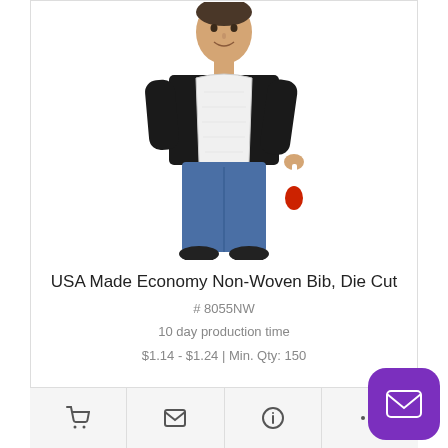[Figure (photo): A man wearing a white non-woven bib die cut, holding a red silicone spatula. He is wearing a black short-sleeve shirt and jeans, shown against a white background.]
USA Made Economy Non-Woven Bib, Die Cut
# 8055NW
10 day production time
$1.14 - $1.24 | Min. Qty: 150